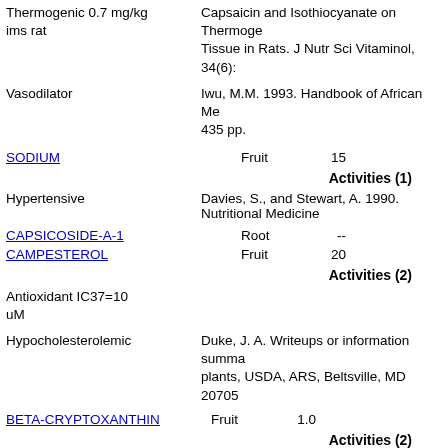Thermogenic 0.7 mg/kg ims rat
Capsaicin and Isothiocyanate on Thermoge Tissue in Rats. J Nutr Sci Vitaminol, 34(6):
Vasodilator
Iwu, M.M. 1993. Handbook of African Me 435 pp.
SODIUM   Fruit   15
Activities (1)
Hypertensive Davies, S., and Stewart, A. 1990. Nutritional Medicine
CAPSICOSIDE-A-1   Root   --
CAMPESTEROL   Fruit   20
Activities (2)
Antioxidant IC37=10 uM
Hypocholesterolemic   Duke, J. A. Writeups or information summa plants, USDA, ARS, Beltsville, MD 20705
BETA-CRYPTOXANTHIN   Fruit   1.0
Activities (2)
Colorant   Jeffery B. Harborne and H. Baxter, eds. 1983. Phyto Bioactive Compounds from Plants. Taylor & Frost, L
Vitamin-A-Activity
SOLANINE   Leaf